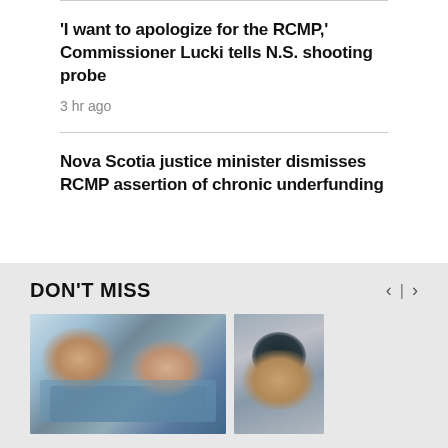'I want to apologize for the RCMP,' Commissioner Lucki tells N.S. shooting probe
3 hr ago
Nova Scotia justice minister dismisses RCMP assertion of chronic underfunding
DON'T MISS
[Figure (photo): Person typing on a keyboard, close-up of hands on keyboard keys]
[Figure (photo): Person wearing a cap, looking downward]